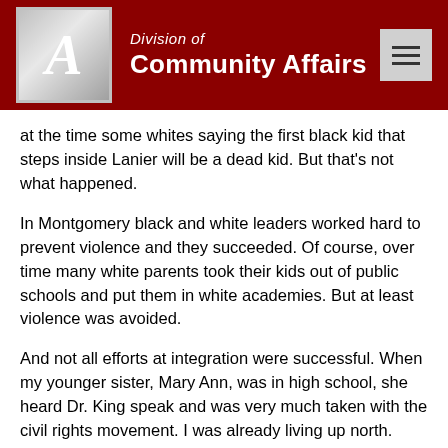Division of Community Affairs
at the time some whites saying the first black kid that steps inside Lanier will be a dead kid. But that's not what happened.
In Montgomery black and white leaders worked hard to prevent violence and they succeeded. Of course, over time many white parents took their kids out of public schools and put them in white academies. But at least violence was avoided.
And not all efforts at integration were successful. When my younger sister, Mary Ann, was in high school, she heard Dr. King speak and was very much taken with the civil rights movement. I was already living up north. Mary Ann was and is very religious. She has always asked, “What would Jesus do?” And so at the age of 16, she tried to integrate our church. One Sunday morning she took the hand of one of Dr.